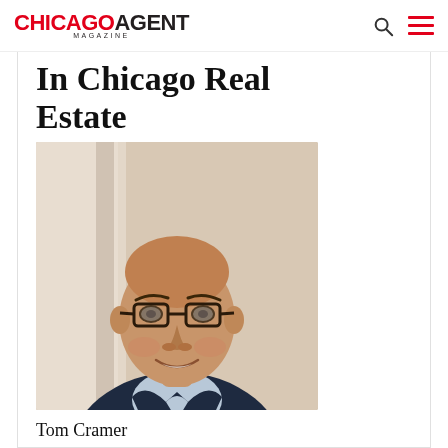CHICAGO AGENT MAGAZINE
In Chicago Real Estate
[Figure (photo): Professional headshot of Tom Cramer, a middle-aged bald man wearing glasses and a dark navy blazer over a light blue shirt, smiling, photographed in an interior setting with neutral background.]
Tom Cramer